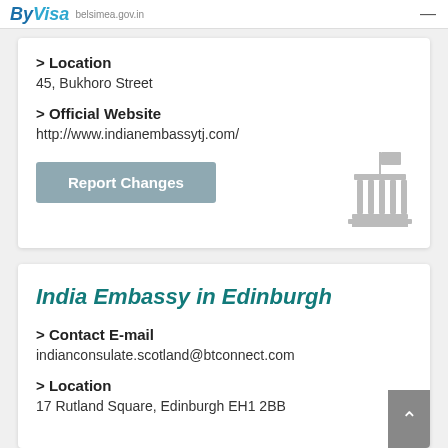ByVisa belsimea.gov.in
> Location
45, Bukhoro Street
> Official Website
http://www.indianembassytj.com/
Report Changes
India Embassy in Edinburgh
> Contact E-mail
indianconsulate.scotland@btconnect.com
> Location
17 Rutland Square, Edinburgh EH1 2BB